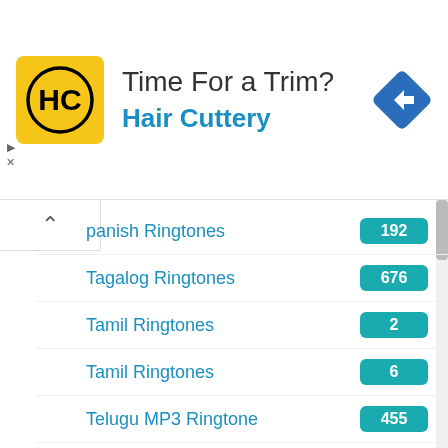[Figure (other): Hair Cuttery advertisement banner with logo, 'Time For a Trim?' headline, and blue navigation arrow icon]
Spanish Ringtones 192
Tagalog Ringtones 676
Tamil Ringtones 2
Tamil Ringtones 6
Telugu MP3 Ringtone 455
Telugu Ringtones 1
Telugu Ringtones 2
Tiktok Music 6